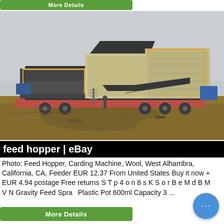[Figure (other): Button labeled 'More Details' with green background at top]
[Figure (photo): Outdoor industrial scene showing a large mobile crushing/screening machine on a trailer at a construction or mining site, foggy sky, dirt ground with debris]
feed hopper | eBay
Photo: Feed Hopper, Carding Machine, Wool, West Alhambra, California, CA, Feeder EUR 12.37 From United States Buy it now + EUR 4.94 postage Free returns S T p 4 o n 8 s K S o r B e M d B M V N Gravity Feed Spray Plastic Pot 600ml Capacity 3 ...
[Figure (other): Button labeled 'More Details' with green background at bottom]